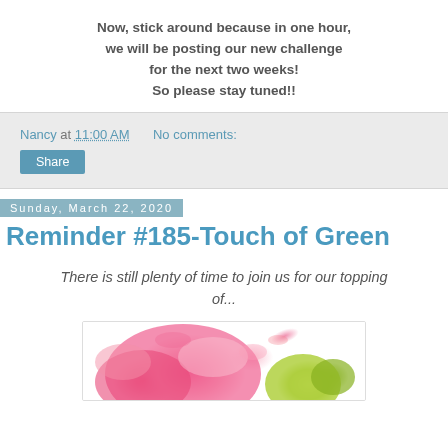Now, stick around because in one hour, we will be posting our new challenge for the next two weeks! So please stay tuned!!
Nancy at 11:00 AM   No comments:   Share
Sunday, March 22, 2020
Reminder #185-Touch of Green
There is still plenty of time to join us for our topping of...
[Figure (photo): Watercolor-style image with pink/red splashes and green balloons on white background]